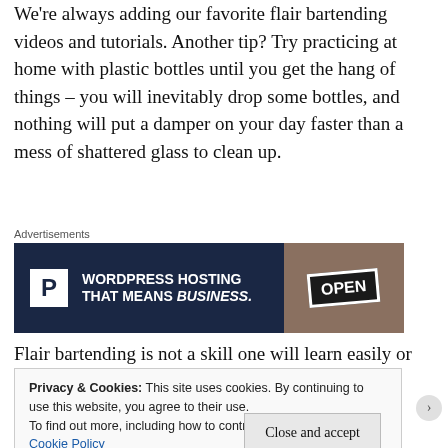We're always adding our favorite flair bartending videos and tutorials. Another tip? Try practicing at home with plastic bottles until you get the hang of things – you will inevitably drop some bottles, and nothing will put a damper on your day faster than a mess of shattered glass to clean up.
[Figure (infographic): Advertisement banner for WordPress Hosting with Pressable. Dark navy background with white P logo box on left, bold white text 'WORDPRESS HOSTING THAT MEANS BUSINESS.' and an OPEN sign photo on right.]
Flair bartending is not a skill one will learn easily or
Privacy & Cookies: This site uses cookies. By continuing to use this website, you agree to their use.
To find out more, including how to control cookies, see here:
Cookie Policy